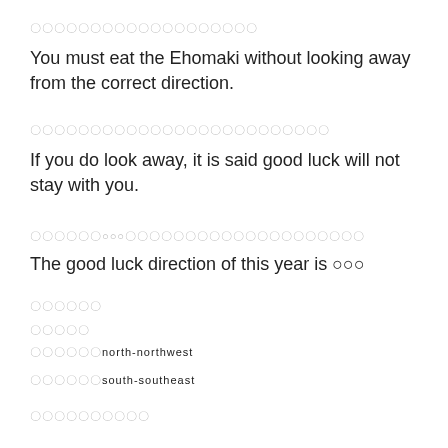〇〇〇〇〇〇〇〇〇〇〇〇〇〇〇〇〇〇〇
You must eat the Ehomaki without looking away from the correct direction.
〇〇〇〇〇〇〇〇〇〇〇〇〇〇〇〇〇〇〇〇〇〇〇〇〇
If you do look away, it is said good luck will not stay with you.
〇〇〇〇〇〇○○○〇〇〇〇〇〇〇〇〇〇〇〇〇〇〇〇〇〇〇〇
The good luck direction of this year is ○○○
〇〇〇〇〇〇
〇〇〇〇〇
〇〇〇〇〇〇north-northwest
〇〇〇〇〇〇south-southeast
〇〇〇〇〇〇〇〇〇〇